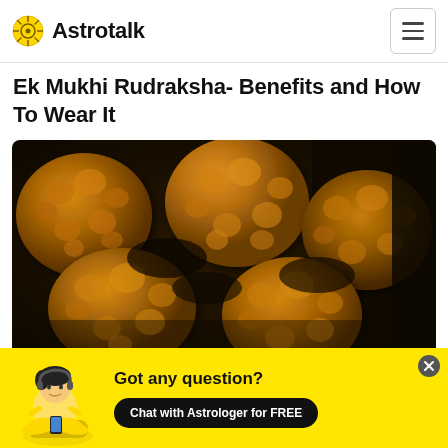Astrotalk
Ek Mukhi Rudraksha- Benefits and How To Wear It
[Figure (photo): Close-up photograph of multiple Rudraksha beads with textured brown surfaces against a dark background]
Got any question? Chat with Astrologer for FREE